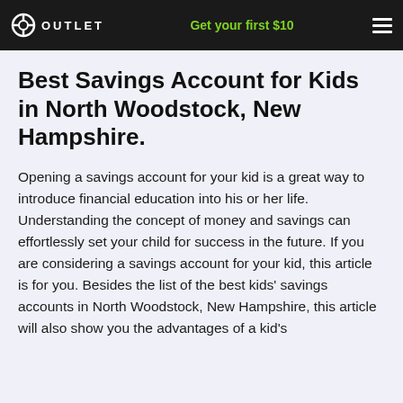OUTLET  Get your first $10
Best Savings Account for Kids in North Woodstock, New Hampshire.
Opening a savings account for your kid is a great way to introduce financial education into his or her life. Understanding the concept of money and savings can effortlessly set your child for success in the future. If you are considering a savings account for your kid, this article is for you. Besides the list of the best kids' savings accounts in North Woodstock, New Hampshire, this article will also show you the advantages of a kid's